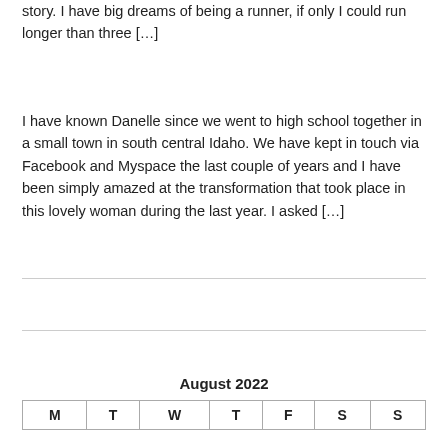story. I have big dreams of being a runner, if only I could run longer than three [...]
I have known Danelle since we went to high school together in a small town in south central Idaho. We have kept in touch via Facebook and Myspace the last couple of years and I have been simply amazed at the transformation that took place in this lovely woman during the last year. I asked [...]
| M | T | W | T | F | S | S |
| --- | --- | --- | --- | --- | --- | --- |